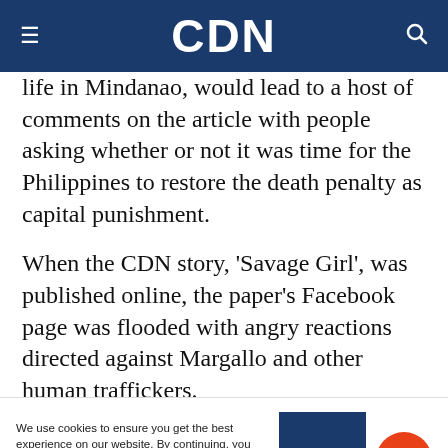CDN
life in Mindanao, would lead to a host of comments on the article with people asking whether or not it was time for the Philippines to restore the death penalty as capital punishment.
When the CDN story, ‘Savage Girl’, was published online, the paper’s Facebook page was flooded with angry reactions directed against Margallo and other human traffickers.
In just two-days, Savage Girl went viral; and by the end of 2017, topped INQUIRER.net’s list of most
We use cookies to ensure you get the best experience on our website. By continuing, you are agreeing to our use of cookies. To find out more, please click this link.